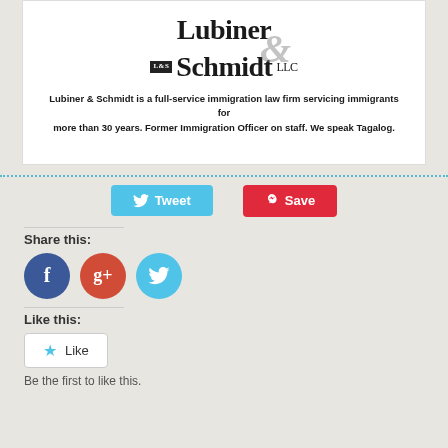[Figure (logo): Lubiner & Schmidt LLC law firm logo with decorative ampersand and badge]
Lubiner & Schmidt is a full-service immigration law firm servicing immigrants for more than 30 years. Former Immigration Officer on staff. We speak Tagalog.
[Figure (infographic): Tweet and Save social sharing buttons]
Share this:
[Figure (infographic): Facebook, Google+, and Twitter social media icon circles]
Like this:
[Figure (infographic): Like button widget]
Be the first to like this.